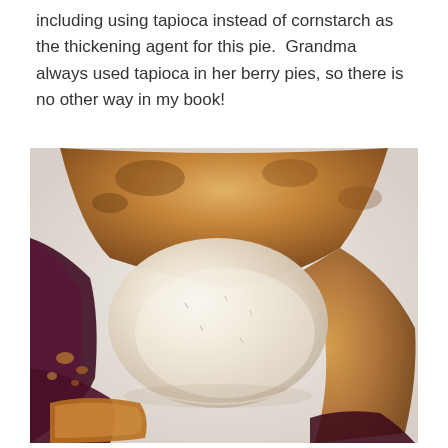including using tapioca instead of cornstarch as the thickening agent for this pie.  Grandma always used tapioca in her berry pies, so there is no other way in my book!
[Figure (photo): Overhead close-up photo of a slice of berry pie topped with a large scoop of vanilla ice cream, served on a white plate. The pie crust is golden brown and flaky, with dark berry filling visible around the edges.]